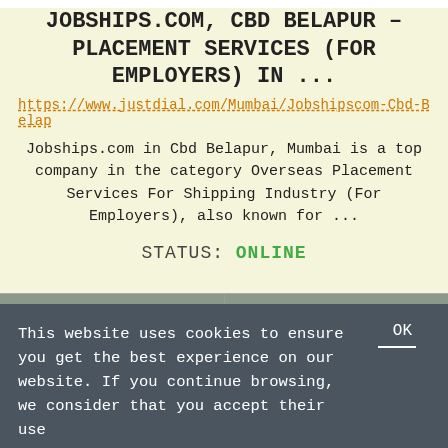JOBSHIPS.COM, CBD BELAPUR – PLACEMENT SERVICES (FOR EMPLOYERS) IN ...
https://www.justdial.com/Mumbai/Jobshipscom-Cbd-Belap
Jobships.com in Cbd Belapur, Mumbai is a top company in the category Overseas Placement Services For Shipping Industry (For Employers), also known for ...
STATUS: ONLINE
LIVE VIEW
MORE
LIST OF IT COMPANIES – PLACEMENT TRAINING – HITBULLSEYE
This website uses cookies to ensure you get the best experience on our website. If you continue browsing, we consider that you accept their use